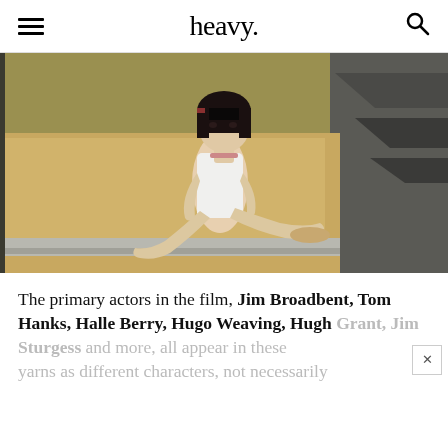heavy.
[Figure (photo): A young woman with a black bob haircut wearing a white sleeveless dress, sitting inside what appears to be a futuristic pod or bunk, with metallic green-yellow walls and geometric architectural elements behind her.]
The primary actors in the film, Jim Broadbent, Tom Hanks, Halle Berry, Hugo Weaving, Hugh Grant, Jim Sturgess and more, all appear in these yarns as different characters, not necessarily